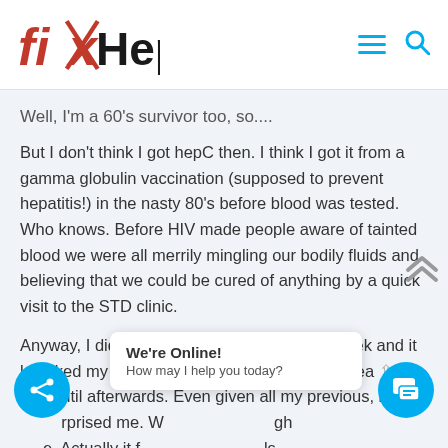fixHepC
Well, I'm a 60's survivor too, so....
But I don't think I got hepC then. I think I got it from a gamma globulin vaccination (supposed to prevent hepatitis!) in the nasty 80's before blood was tested. Who knows. Before HIV made people aware of tainted blood we were all merrily mingling our bodily fluids and believing that we could be cured of anything by a quick visit to the STD clinic.
Anyway, I did get that euphoria for about a week and it knocked my socks off, but I didn't completely rea... that until afterwards. Even given all my previous, it ...rprised me. W... ...gh... ...e. Actually it f... ...ils... would do that without any harm I'd be a buyer. Still, it
We're Online! How may I help you today?